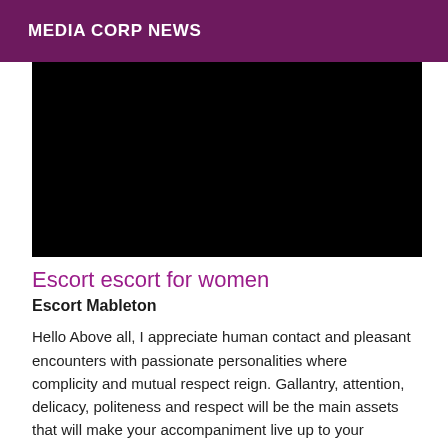MEDIA CORP NEWS
[Figure (photo): Black rectangle representing a video or image placeholder]
Escort escort for women
Escort Mableton
Hello Above all, I appreciate human contact and pleasant encounters with passionate personalities where complicity and mutual respect reign. Gallantry, attention, delicacy, politeness and respect will be the main assets that will make your accompaniment live up to your requirements. Passionate about sports, travel, cinema... as such I will be pleased to share with you these different hobbies that are part of my daily life. In addition, my adaptability, my availability, my discretion and a